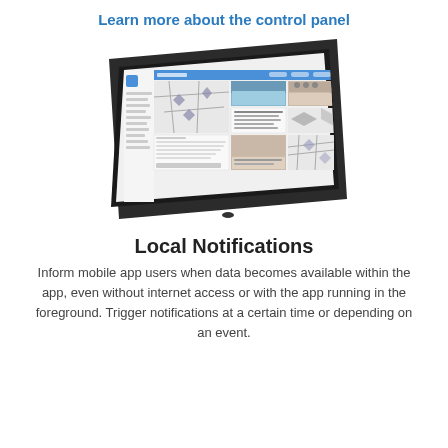Learn more about the control panel
[Figure (screenshot): A tablet device displayed in perspective/isometric view showing a web application dashboard with a map, images, and content panels on the screen.]
Local Notifications
Inform mobile app users when data becomes available within the app, even without internet access or with the app running in the foreground. Trigger notifications at a certain time or depending on an event.